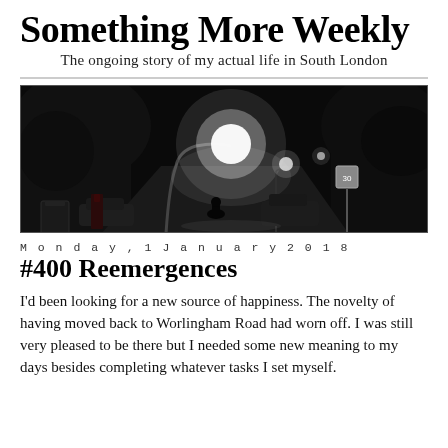Something More Weekly
The ongoing story of my actual life in South London
[Figure (photo): Black and white nighttime street scene in South London, showing a curved street lamp illuminating a dark road with trees on either side and parked cars visible. Another street lamp glows in the distance. A road sign is visible on the right.]
Monday, 1 January 2018
#400 Reemergences
I'd been looking for a new source of happiness. The novelty of having moved back to Worlingham Road had worn off. I was still very pleased to be there but I needed some new meaning to my days besides completing whatever tasks I set myself.